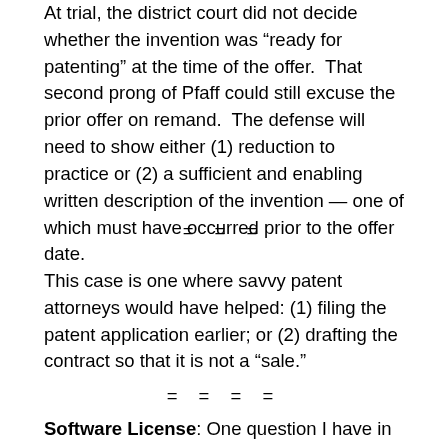At trial, the district court did not decide whether the invention was “ready for patenting” at the time of the offer. That second prong of Pfaff could still excuse the prior offer on remand. The defense will need to show either (1) reduction to practice or (2) a sufficient and enabling written description of the invention — one of which must have occurred prior to the offer date.
= = =
This case is one where savvy patent attorneys would have helped: (1) filing the patent application earlier; or (2) drafting the contract so that it is not a “sale.”
= = = =
Software License: One question I have in this case involves the onboard software. The patent claims here include software elements: a “process control unit [that]